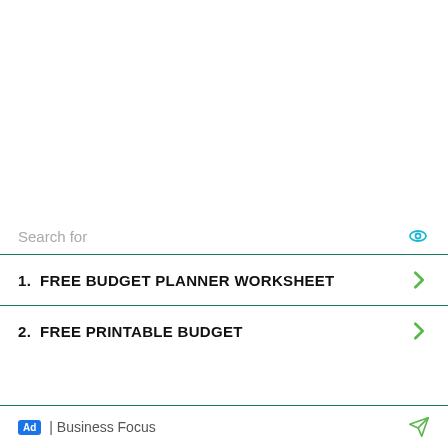Search for
1.  FREE BUDGET PLANNER WORKSHEET
2.  FREE PRINTABLE BUDGET
Ad | Business Focus